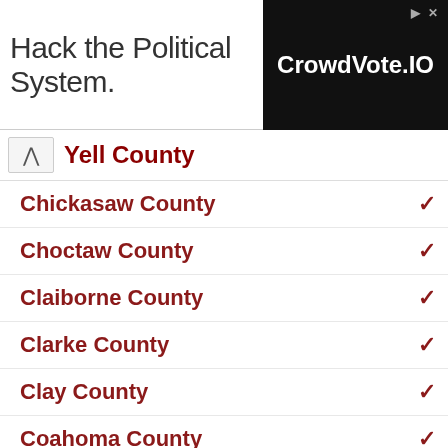[Figure (other): Advertisement banner: 'Hack the Political System.' with CrowdVote.IO logo on black background]
Yell County (partially visible, collapsed/expanded)
Chickasaw County
Choctaw County
Claiborne County
Clarke County
Clay County
Coahoma County
Copiah County
Covington County
Desoto County
Forrest County